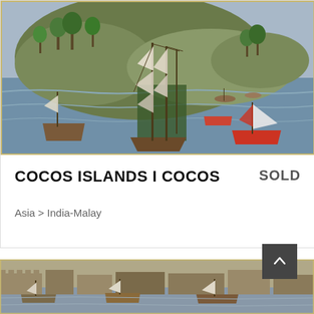[Figure (illustration): Antique engraving/illustration of sailing ships in a harbor near a forested island, with multiple vessels including tall ships and smaller boats with colorful sails]
COCOS ISLANDS I COCOS
SOLD
Asia > India-Malay
[Figure (illustration): Partial view of another antique map or engraving showing a coastal scene with ships and fortifications]